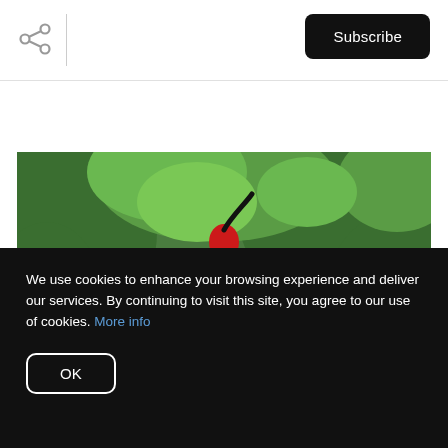Share | Subscribe
[Figure (photo): A scarlet ibis bird with wings spread wide open, vivid red plumage with black wingtips, curved black beak pointed upward, photographed against a blurred green foliage background.]
We use cookies to enhance your browsing experience and deliver our services. By continuing to visit this site, you agree to our use of cookies. More info
OK